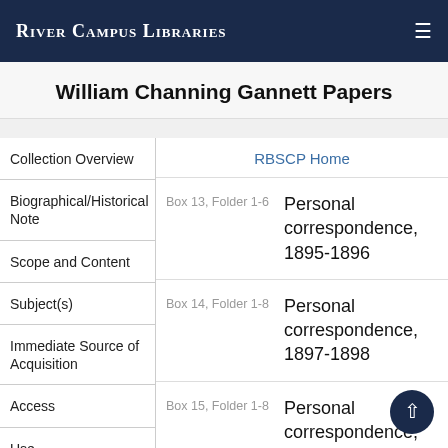River Campus Libraries
William Channing Gannett Papers
Collection Overview
Biographical/Historical Note
Scope and Content
Subject(s)
Immediate Source of Acquisition
Access
Use
RBSCP Home
Box 13, Folder 1-6
Personal correspondence, 1895-1896
Box 14, Folder 1-8
Personal correspondence, 1897-1898
Box 15, Folder 1-8
Personal correspondence, 1899